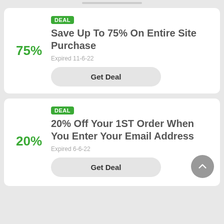75%
DEAL
Save Up To 75% On Entire Site Purchase
Expired 11-6-22
Get Deal
20%
DEAL
20% Off Your 1ST Order When You Enter Your Email Address
Expired 6-6-22
Get Deal